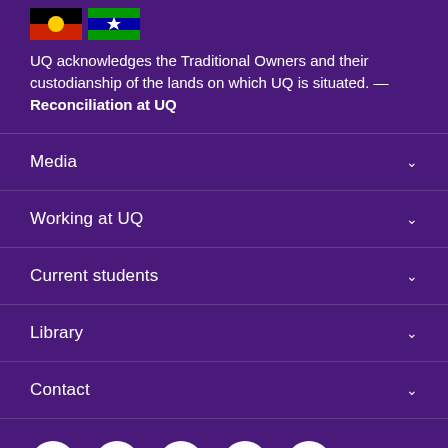[Figure (illustration): Two flags side by side: Aboriginal Australian flag (red/black/yellow) and Torres Strait Islander flag (blue/green/white)]
UQ acknowledges the Traditional Owners and their custodianship of the lands on which UQ is situated. — Reconciliation at UQ
Media
Working at UQ
Current students
Library
Contact
[Figure (illustration): Social media icons: Facebook, LinkedIn, Twitter, YouTube, Instagram — white circles on purple background]